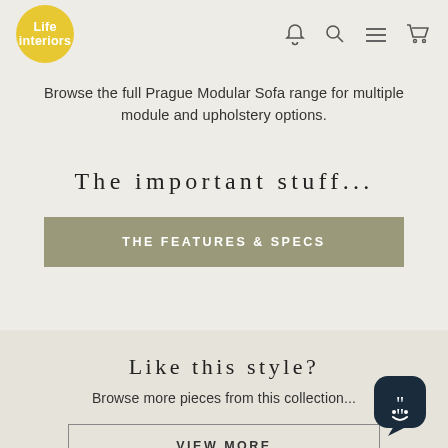[Figure (logo): Life Interiors yellow circle logo with white text]
[Figure (illustration): Navigation icons: bell, search, hamburger menu, cart]
Browse the full Prague Modular Sofa range for multiple module and upholstery options.
The important stuff...
THE FEATURES & SPECS
Like this style?
Browse more pieces from this collection...
VIEW MORE
[Figure (illustration): Chat support widget icon in bottom right corner]